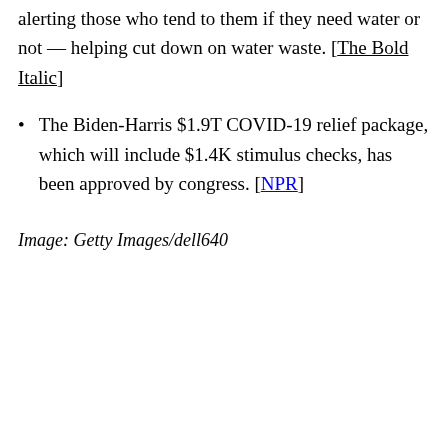alerting those who tend to them if they need water or not — helping cut down on water waste. [The Bold Italic]
The Biden-Harris $1.9T COVID-19 relief package, which will include $1.4K stimulus checks, has been approved by congress. [NPR]
Image: Getty Images/dell640